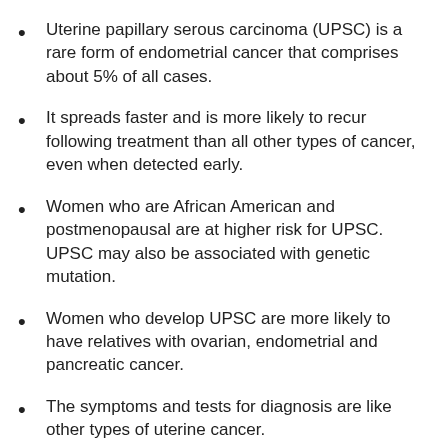Uterine papillary serous carcinoma (UPSC) is a rare form of endometrial cancer that comprises about 5% of all cases.
It spreads faster and is more likely to recur following treatment than all other types of cancer, even when detected early.
Women who are African American and postmenopausal are at higher risk for UPSC. UPSC may also be associated with genetic mutation.
Women who develop UPSC are more likely to have relatives with ovarian, endometrial and pancreatic cancer.
The symptoms and tests for diagnosis are like other types of uterine cancer.
UPSC treatments include laparotomy (abdominal